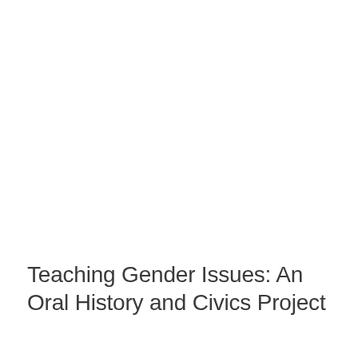Teaching Gender Issues: An Oral History and Civics Project